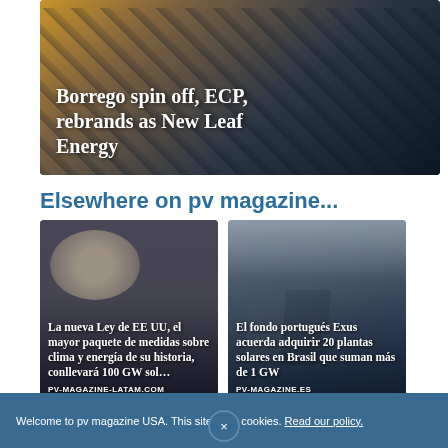[Figure (photo): Solar panel image with dark blue/brown tones, article thumbnail]
Borrego spin off, ECP, rebrands as New Leaf Energy
Elsewhere on pv magazine...
[Figure (photo): Photo of elderly person with child, article thumbnail for pv-magazine-latam.com]
La nueva Ley de EE UU, el mayor paquete de medidas sobre clima y energía de su historia, conllevará 100 GW sol…
PV-MAGAZINE-LATAM.COM
[Figure (photo): Solar panels against cloudy sky, article thumbnail for pv-magazine.es]
El fondo portugués Exus acuerda adquirir 20 plantas solares en Brasil que suman más de 1 GW
PV-MAGAZINE.ES
[Figure (photo): Light blue sky thumbnail, bottom article]
Welcome to pv magazine USA. This site uses cookies. Read our policy.